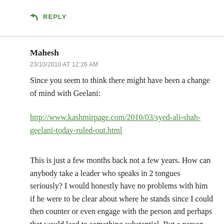↳ REPLY
Mahesh
23/10/2010 AT 12:26 AM
Since you seem to think there might have been a change of mind with Geelani:
http://www.kashmirpage.com/2010/03/syed-ali-shah-geelani-today-ruled-out.html
This is just a few months back not a few years. How can anybody take a leader who speaks in 2 tongues seriously? I would honestly have no problems with him if he were to be clear about where he stands since I could then counter or even engage with the person and perhaps that would lead to something substantial. But a person who choses his politics